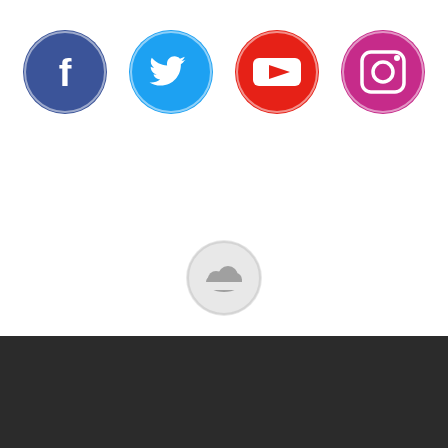[Figure (infographic): Five social media icon buttons in circles: Facebook (dark blue), Twitter (light blue), YouTube (red), Instagram (pink/magenta), and SoundCloud (light gray). The first four are in a row at the top, and SoundCloud is centered below.]